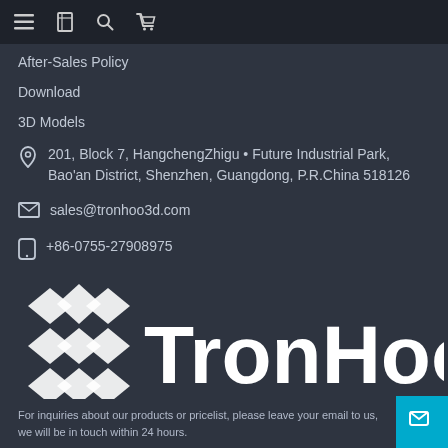Navigation bar with menu, bookmark, search, and cart icons
After-Sales Policy
Download
3D Models
201, Block 7, HangchengZhigu • Future Industrial Park, Bao'an District, Shenzhen, Guangdong, P.R.China 518126
sales@tronhoo3d.com
+86-0755-27908975
[Figure (logo): TronHoo logo with geometric diamond/shield icon in white and TronHoo wordmark]
For inquiries about our products or pricelist, please leave your email to us, we will be in touch within 24 hours.